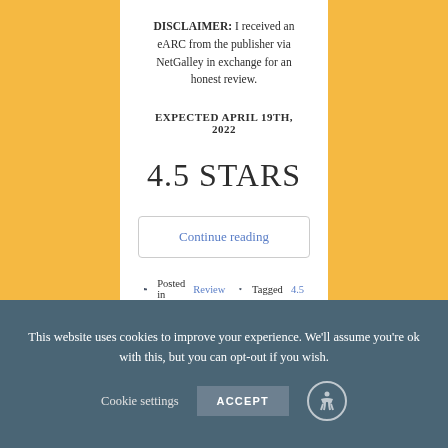DISCLAIMER: I received an eARC from the publisher via NetGalley in exchange for an honest review.
EXPECTED APRIL 19TH, 2022
4.5 STARS
Continue reading
Posted in Review  Tagged 4.5
This website uses cookies to improve your experience. We'll assume you're ok with this, but you can opt-out if you wish. Cookie settings  ACCEPT